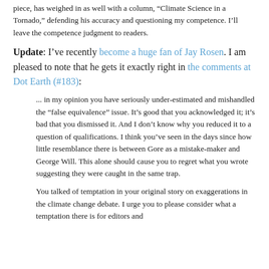piece, has weighed in as well with a column, “Climate Science in a Tornado,” defending his accuracy and questioning my competence. I’ll leave the competence judgment to readers.
Update: I’ve recently become a huge fan of Jay Rosen. I am pleased to note that he gets it exactly right in the comments at Dot Earth (#183):
... in my opinion you have seriously under-estimated and mishandled the “false equivalence” issue. It’s good that you acknowledged it; it’s bad that you dismissed it. And I don’t know why you reduced it to a question of qualifications. I think you’ve seen in the days since how little resemblance there is between Gore as a mistake-maker and George Will. This alone should cause you to regret what you wrote suggesting they were caught in the same trap.
You talked of temptation in your original story on exaggerations in the climate change debate. I urge you to please consider what a temptation there is for editors and